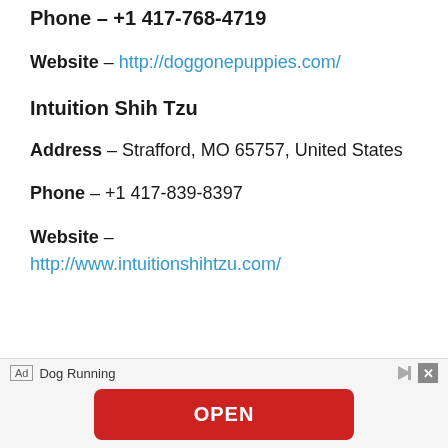Phone – +1 417-768-4719
Website – http://doggonepuppies.com/
Intuition Shih Tzu
Address – Strafford, MO 65757, United States
Phone – +1 417-839-8397
Website – http://www.intuitionshihtzu.com/
[Figure (screenshot): Advertisement banner with 'Dog Running' label, an OPEN button in red]